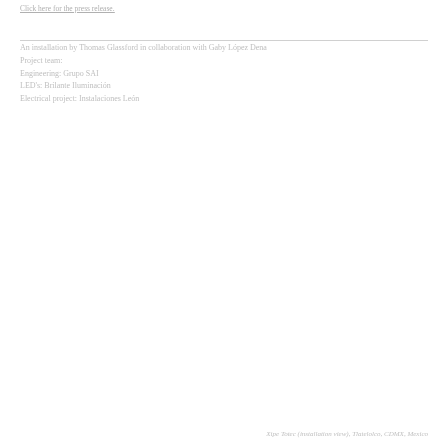Click here for the press release.
An installation by Thomas Glassford in collaboration with Gaby López Dena
Project team:
Engineering: Grupo SAI
LED's: Brilante Iluminación
Electrical project: Instalaciones León
Xipe Totec (installation view), Tlatelolco, CDMX, Mexico